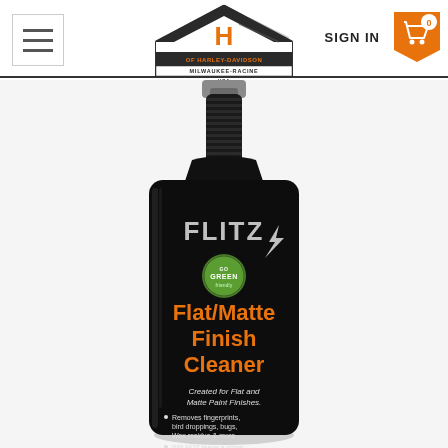[Figure (logo): House of Harley-Davidson Milwaukee-Racine USA logo — house-shaped badge with orange 'H' and text]
SIGN IN
[Figure (illustration): Shopping cart icon with orange badge showing 0, on orange arrow/chevron background]
[Figure (photo): Flitz Flat/Matte Finish Cleaner product bottle — black pump bottle with orange label text reading 'Flat/Matte Finish Cleaner', green GO GREEN badge, text 'Created for Flat and Matte Paint Finishes. Removes fingerprints, bird droppings, bugs, Wax residue & more. Will NOT leave a shine:']